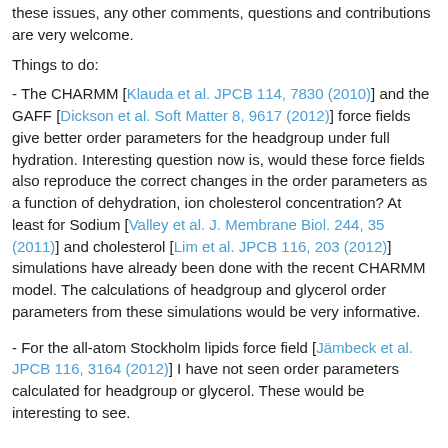these issues, any other comments, questions and contributions are very welcome.
Things to do:
- The CHARMM [Klauda et al. JPCB 114, 7830 (2010)] and the GAFF [Dickson et al. Soft Matter 8, 9617 (2012)] force fields give better order parameters for the headgroup under full hydration. Interesting question now is, would these force fields also reproduce the correct changes in the order parameters as a function of dehydration, ion cholesterol concentration? At least for Sodium [Valley et al. J. Membrane Biol. 244, 35 (2011)] and cholesterol [Lim et al. JPCB 116, 203 (2012)] simulations have already been done with the recent CHARMM model. The calculations of headgroup and glycerol order parameters from these simulations would be very informative.
- For the all-atom Stockholm lipids force field [Jämbeck et al. JPCB 116, 3164 (2012)] I have not seen order parameters calculated for headgroup or glycerol. These would be interesting to see.